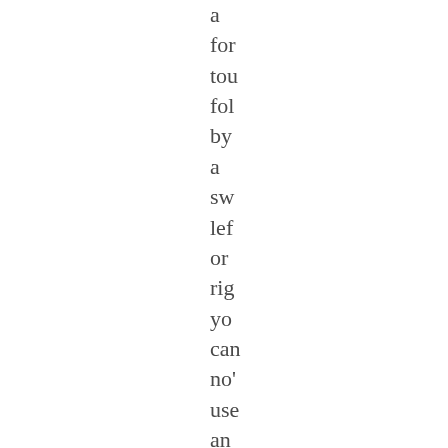a for tou fol by a sw lef or rig yo can no' use an edg to- edg (le